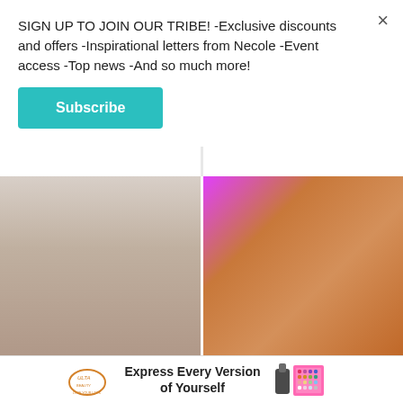SIGN UP TO JOIN OUR TRIBE! -Exclusive discounts and offers -Inspirational letters from Necole -Event access -Top news -And so much more!
Subscribe
[Figure (photo): Close-up photo of Toby Keith (top portion of face)]
[Figure (photo): Close-up photo related to 90 Day Fiancé Memphis and Hamza story]
The Tragedy Of Toby Keith Is Just Heartbreaking
90 Day Fiancé's Memphis And Hamza Reportedly Fired By TLC
[Figure (photo): Close-up photo of a young woman with light hair and blue eyes]
[Figure (photo): Close-up photo of a man with bold blue glitter eye makeup]
[Figure (advertisement): Ulta Beauty advertisement: Express Every Version of Yourself, showing makeup products]